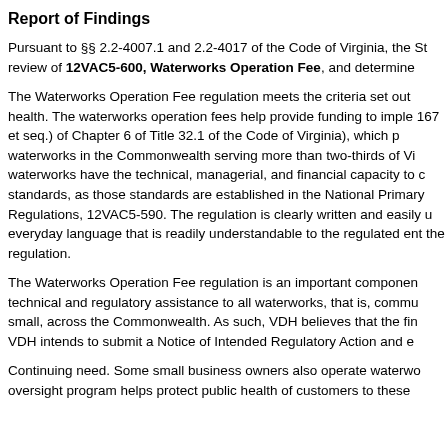Report of Findings
Pursuant to §§ 2.2-4007.1 and 2.2-4017 of the Code of Virginia, the St review of 12VAC5-600, Waterworks Operation Fee, and determine
The Waterworks Operation Fee regulation meets the criteria set out health. The waterworks operation fees help provide funding to imple 167 et seq.) of Chapter 6 of Title 32.1 of the Code of Virginia), which waterworks in the Commonwealth serving more than two-thirds of V waterworks have the technical, managerial, and financial capacity to standards, as those standards are established in the National Primary Regulations, 12VAC5-590. The regulation is clearly written and easily everyday language that is readily understandable to the regulated ent the regulation.
The Waterworks Operation Fee regulation is an important componen technical and regulatory assistance to all waterworks, that is, commu small, across the Commonwealth. As such, VDH believes that the fin VDH intends to submit a Notice of Intended Regulatory Action and e
Continuing need. Some small business owners also operate waterwo oversight program helps protect public health of customers to these